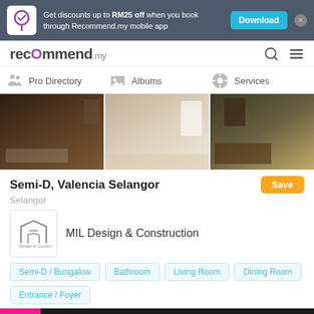Get discounts up to RM25 off when you book through Recommend.my mobile app
[Figure (logo): Recommend.my logo in navigation bar]
Pro Directory   Albums   Services
[Figure (photo): Three interior design photos: bathroom, hallway/bedroom, dining room]
Semi-D, Valencia Selangor
Selangor
[Figure (logo): MIL Design & Construction company logo]
MIL Design & Construction
Semi-D / Bungalow
Bathroom
Living Room
Dining Room
Entrance / Foyer